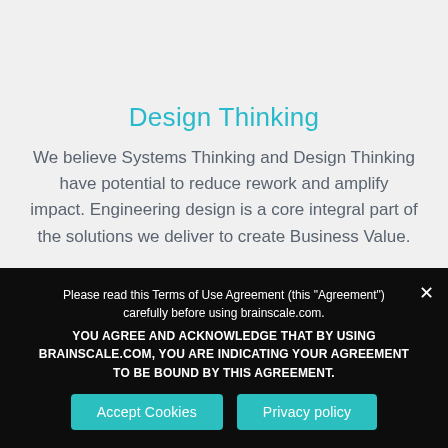Design Thinking
We believe Systems Thinking and Design Thinking have potential to reduce rework and amplify impact. Engineering design is a core integral part of the solutions we deliver to create Business Value.
Please read this Terms of Use Agreement (this "Agreement") carefully before using brainscale.com. YOU AGREE AND ACKNOWLEDGE THAT BY USING BRAINSCALE.COM, YOU ARE INDICATING YOUR AGREEMENT TO BE BOUND BY THIS AGREEMENT.
Accept Cookies
Privacy policy